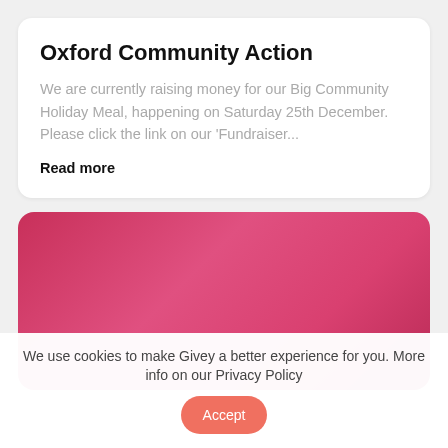Oxford Community Action
We are currently raising money for our Big Community Holiday Meal, happening on Saturday 25th December. Please click the link on our 'Fundraiser...
Read more
[Figure (illustration): A pink-to-crimson gradient rectangle, representing an image placeholder for a fundraiser or event visual.]
We use cookies to make Givey a better experience for you. More info on our Privacy Policy